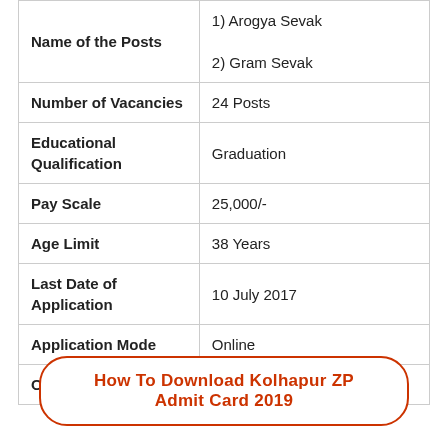|  |  |
| --- | --- |
| Name of the Posts | 1) Arogya Sevak
2) Gram Sevak |
| Number of Vacancies | 24 Posts |
| Educational Qualification | Graduation |
| Pay Scale | 25,000/- |
| Age Limit | 38 Years |
| Last Date of Application | 10 July 2017 |
| Application Mode | Online |
| Official Website | www.zpkolhapur.gov.in |
How To Download Kolhapur ZP Admit Card 2019